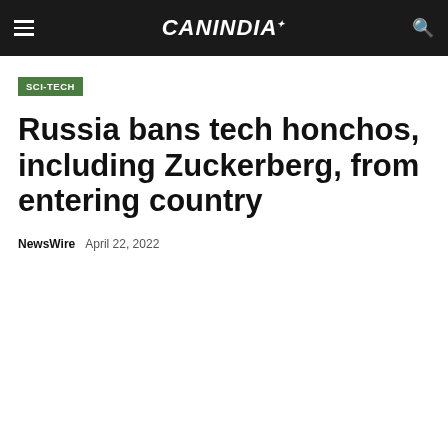CANINDIA
SCI-TECH
Russia bans tech honchos, including Zuckerberg, from entering country
NewsWire   April 22, 2022